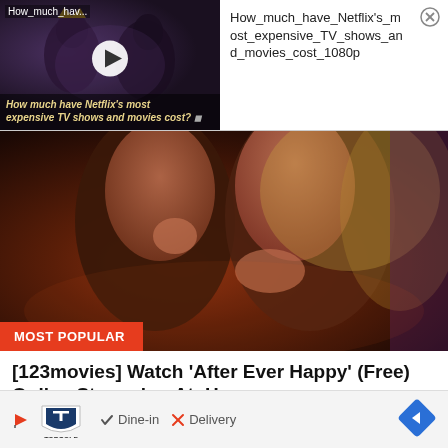[Figure (screenshot): Video thumbnail showing 'How much have Netflix's most expensive TV shows and movies cost?' with play button overlay and two figures in dark background]
How_much_have_Netflix's_most_expensive_TV_shows_and_movies_cost_1080p
[Figure (photo): Film still showing two people close together in a dramatic scene with warm reddish-brown tones, labeled MOST POPULAR]
[123movies] Watch 'After Ever Happy' (Free) Online Streaming At~Home
Film Daily
[Figure (screenshot): Advertisement banner for Topgolf showing Dine-in checkmark and Delivery X options with navigation arrow]